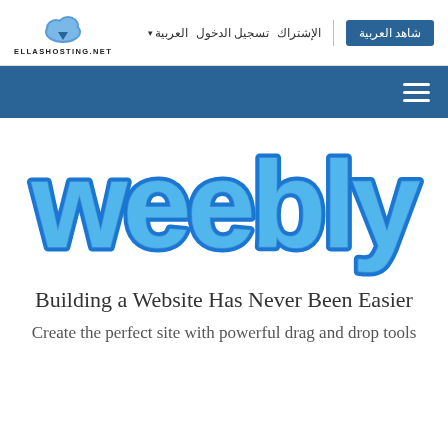[Figure (logo): EllasHosting.net logo with cloud icon and site name]
الإشتراك  تسجيل الدخول  العربية ▾  | شاهد العربية
[Figure (screenshot): Dark teal navigation bar with hamburger menu icon]
[Figure (logo): Weebly logo in blue rounded bubble lettering]
Building a Website Has Never Been Easier
Create the perfect site with powerful drag and drop tools